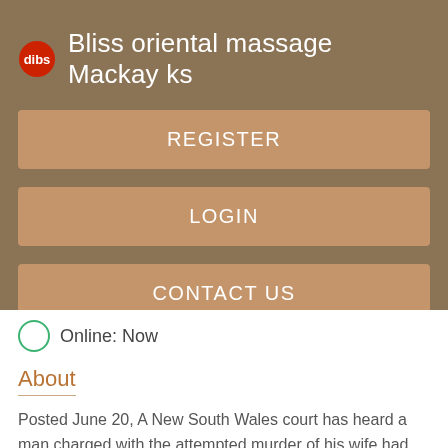Bliss oriental massage Mackay ks
REGISTER
LOGIN
CONTACT US
Online: Now
About
Posted June 20, A New South Wales court has heard a man charged with the attempted murder of his wife had formed "a suicide pact" with. David Allen Esling, 81, is